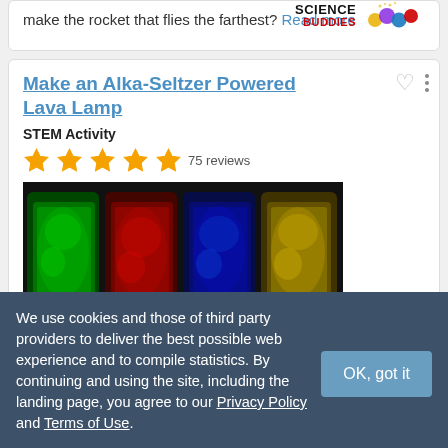make the rocket that flies the farthest? Read more
[Figure (logo): Science Buddies logo with colorful circles]
Make an Alka-Seltzer Powered Lava Lamp
STEM Activity
75 reviews (5 stars)
[Figure (photo): Four glowing lava lamp containers in green, red, blue, and yellow on black background]
We use cookies and those of third party providers to deliver the best possible web experience and to compile statistics. By continuing and using the site, including the landing page, you agree to our Privacy Policy and Terms of Use.